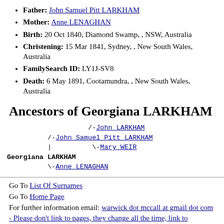Father: John Samuel Pitt LARKHAM
Mother: Anne LENAGHAN
Birth: 20 Oct 1840, Diamond Swamp, , NSW, Australia
Christening: 15 Mar 1841, Sydney, , New South Wales, Australia
FamilySearch ID: LY1J-SV8
Death: 6 May 1891, Cootamundra, , New South Wales, Australia
Ancestors of Georgiana LARKHAM
[Figure (other): Genealogy ancestor tree showing Georgiana LARKHAM with parents John Samuel Pitt LARKHAM and Anne LENAGHAN, and grandparents John LARKHAM and Mary WEIR]
Go To List Of Surnames
Go To Home Page
For further information email: warwick dot mccall at gmail dot com - Please don't link to pages, they change all the time, link to